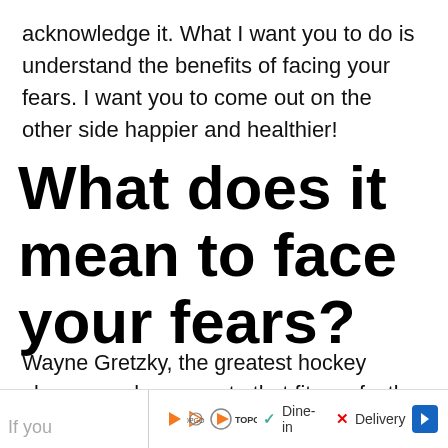acknowledge it. What I want you to do is understand the benefits of facing your fears. I want you to come out on the other side happier and healthier!
What does it mean to face your fears?
Wayne Gretzky, the greatest hockey player ever has a quote that fits perfectly here. “You miss 100% of the shots you don’t take”.
[Figure (other): Advertisement bar at bottom of page featuring Topgolf logo, Dine-in checkmark, Delivery X mark, and a blue arrow navigation button. Partially obscured text 'If you' on the left.]